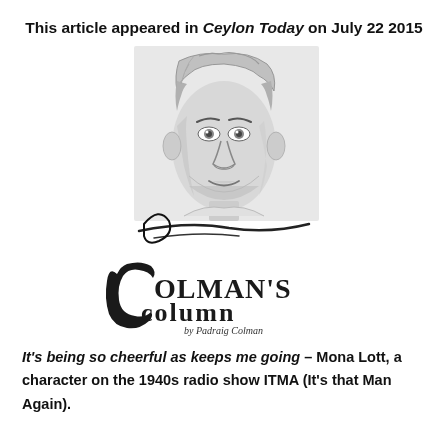This article appeared in Ceylon Today on July 22 2015
[Figure (illustration): Colman's Column logo featuring a sketched portrait of a man and stylized text reading 'Colman's column by Padraig Colman']
It's being so cheerful as keeps me going – Mona Lott, a character on the 1940s radio show ITMA (It's that Man Again).